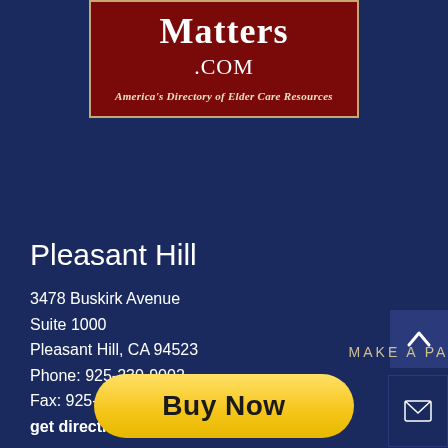[Figure (logo): ElderCareMatters.com logo — dark red box with white serif text 'Matters .COM' and tagline 'America's Directory of Elder Care Resources']
Pleasant Hill
3478 Buskirk Avenue
Suite 1000
Pleasant Hill, CA 94523
Phone: 925-230-9002
Fax: 925-746-7101
get directions
MAKE A PAYMENT
[Figure (other): PayPal Buy Now yellow rounded button]